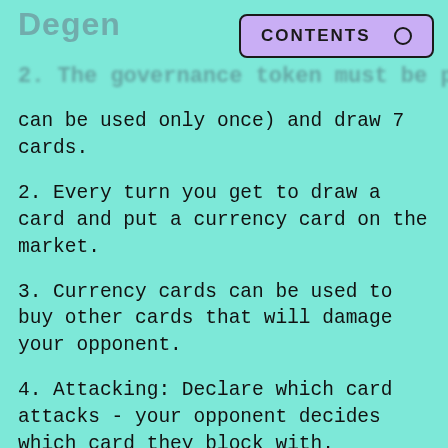Degen
2. The governance token must be paid...
can be used only once) and draw 7 cards.
2. Every turn you get to draw a card and put a currency card on the market.
3. Currency cards can be used to buy other cards that will damage your opponent.
4. Attacking: Declare which card attacks - your opponent decides which card they block with.
5. You win if you reduce your opponents personal funds from 20k to 0.